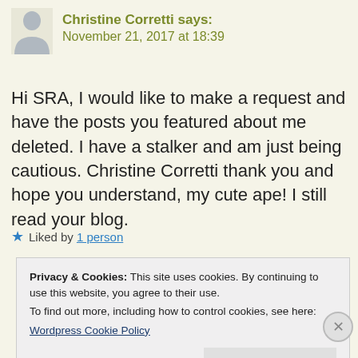Christine Corretti says:
November 21, 2017 at 18:39
Hi SRA, I would like to make a request and have the posts you featured about me deleted. I have a stalker and am just being cautious. Christine Corretti thank you and hope you understand, my cute ape! I still read your blog.
★ Liked by 1 person
Privacy & Cookies: This site uses cookies. By continuing to use this website, you agree to their use.
To find out more, including how to control cookies, see here:
Wordpress Cookie Policy
CLOSE & ACCEPT